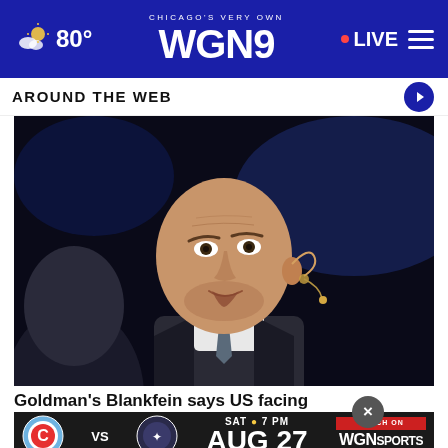CHICAGO'S VERY OWN WGN9 · 80° · LIVE
AROUND THE WEB
[Figure (photo): Bald man wearing a beige earpiece microphone speaking at an event, dark background, wearing suit with patterned tie]
Goldman's Blankfein says US facing 'very, ×y high...
[Figure (infographic): WGN Sports ad banner: Chicago FC vs opponent, SAT 7PM, AUG 27, WATCH ON WGN SPORTS]